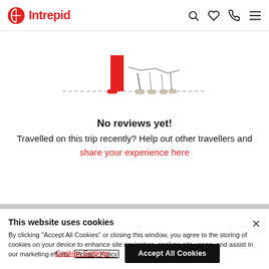Intrepid
[Figure (illustration): Partial illustration of legs/feet with a red element, on a dashed horizontal line, shown at the top of the content card.]
No reviews yet!
Travelled on this trip recently? Help out other travellers and share your experience here
This website uses cookies
By clicking "Accept All Cookies" or closing this window, you agree to the storing of cookies on your device to enhance site navigation, analyze site usage, and assist in our marketing efforts.  Privacy Policy
Cookies Settings  Accept All Cookies